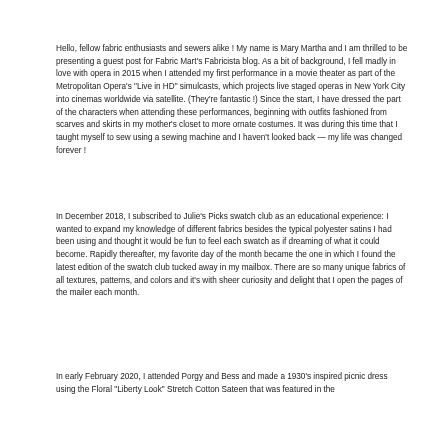Hello, fellow fabric enthusiasts and sewers alike ! My name is Mary Martha and I am thrilled to be presenting a guest post for Fabric Mart's Fabricista blog. As a bit of background, I fell madly in love with opera in 2015 when I attended my first performance in a movie theater as part of the Metropolitan Opera's "Live in HD" simulcasts, which projects live staged operas in New York City into cinemas worldwide via satellite. (They're fantastic !) Since the start, I have dressed the part of the characters when attending these performances, beginning with outfits fashioned from scarves and skirts in my mother's closet to more ornate costumes. It was during this time that I taught myself to sew using a sewing machine and I haven't looked back — my life was changed forever !
In December 2018, I subscribed to Julie's Picks swatch club as an educational experience: I wanted to expand my knowledge of different fabrics besides the typical polyester satins I had been using and thought it would be fun to feel each swatch as if dreaming of what it could become. Rapidly thereafter, my favorite day of the month became the one in which I found the latest edition of the swatch club tucked away in my mailbox. There are so many unique fabrics of all textures, patterns, and colors and it's with sheer curiosity and delight that I open the pages of the mailer each month.
In early February 2020, I attended Porgy and Bess and made a 1930's inspired picnic dress using the Floral "Liberty Look" Stretch Cotton Sateen that was featured in the November/December Mailer. Fabric Mart had claimed it had been one of their most popular fabrics of